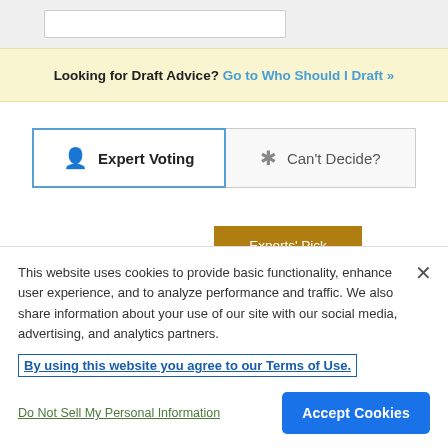Looking for Draft Advice? Go to Who Should I Draft »
Expert Voting | Can't Decide?
Experts' Pick
This website uses cookies to provide basic functionality, enhance user experience, and to analyze performance and traffic. We also share information about your use of our site with our social media, advertising, and analytics partners.
By using this website you agree to our Terms of Use.
Do Not Sell My Personal Information
Accept Cookies